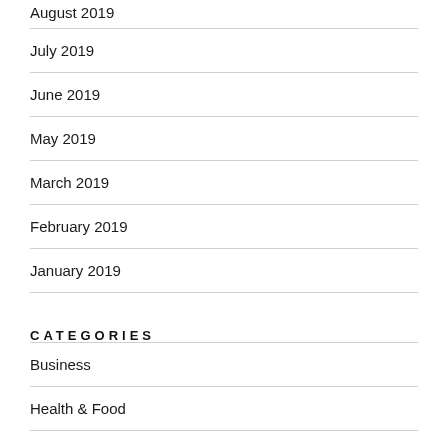August 2019
July 2019
June 2019
May 2019
March 2019
February 2019
January 2019
CATEGORIES
Business
Health & Food